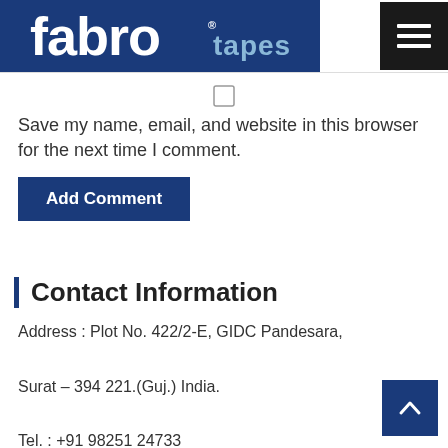fabro tapes
Save my name, email, and website in this browser for the next time I comment.
Add Comment
Contact Information
Address : Plot No. 422/2-E, GIDC Pandesara, Surat – 394 221.(Guj.) India.
Tel. : +91 98251 24733